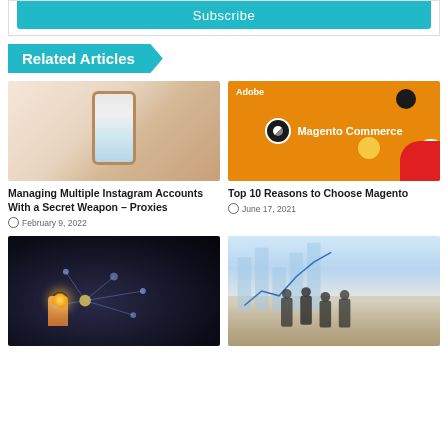[Figure (screenshot): Teal Subscribe button bar]
Related Articles
[Figure (photo): Hand holding smartphone showing Instagram feed]
Managing Multiple Instagram Accounts With a Secret Weapon – Proxies
February 9, 2022
[Figure (photo): Magento Commerce promotional image on orange background]
Top 10 Reasons to Choose Magento
June 17, 2021
[Figure (photo): Hand touching glowing network connection icons in dark background]
[Figure (photo): Business people standing around table with chart in background]